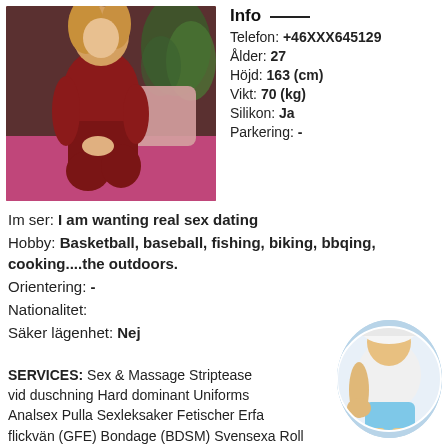[Figure (photo): Woman in dark red outfit crouching on pink/magenta couch with plants in background]
Info
Telefon: +46XXX645129
Ålder: 27
Höjd: 163 (cm)
Vikt: 70 (kg)
Silikon: Ja
Parkering: -
Im ser: I am wanting real sex dating
Hobby: Basketball, baseball, fishing, biking, bbqing, cooking....the outdoors.
Orientering: -
Nationalitet:
Säker lägenhet: Nej
SERVICES: Sex & Massage Striptease vid duschning Hard dominant Uniforms Analsex Pulla Sexleksaker Fetischer Erfa flickvän (GFE) Bondage (BDSM) Svensexa Roll
[Figure (photo): Woman in white top and light blue shorts, circular cropped photo]